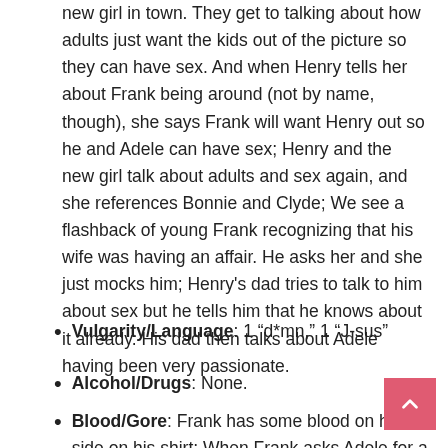new girl in town. They get to talking about how adults just want the kids out of the picture so they can have sex. And when Henry tells her about Frank being around (not by name, though), she says Frank will want Henry out so he and Adele can have sex; Henry and the new girl talk about adults and sex again, and she references Bonnie and Clyde; We see a flashback of young Frank recognizing that his wife was having an affair. He asks her and she just mocks him; Henry's dad tries to talk to him about sex but he tells him that he knows about it already. His dad then talks about Adele having been very passionate.
Vulgarity/Language: 1 “d*mn,” 1 “J-sus”
Alcohol/Drugs: None.
Blood/Gore: Frank has some blood on his side on his shirt; When Frank asks Adele for a ride, he turns his head and we see a little blood around his ear and hairline; We